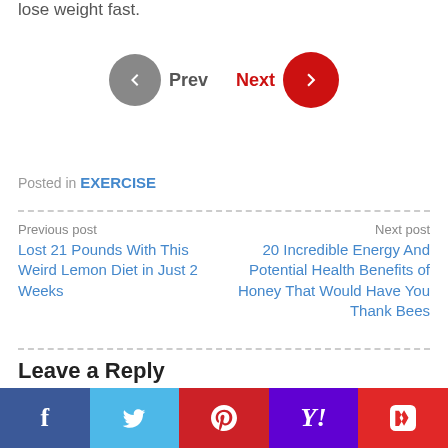lose weight fast.
[Figure (infographic): Navigation buttons: Prev (gray circle with left arrow) and Next (red circle with right arrow)]
Posted in EXERCISE
Previous post
Lost 21 Pounds With This Weird Lemon Diet in Just 2 Weeks
Next post
20 Incredible Energy And Potential Health Benefits of Honey That Would Have You Thank Bees
Leave a Reply
Your email address will not be published. Required fields are marked *
Comment
[Figure (infographic): Social sharing bar with Facebook, Twitter, Pinterest, Yahoo, and Flipboard buttons]